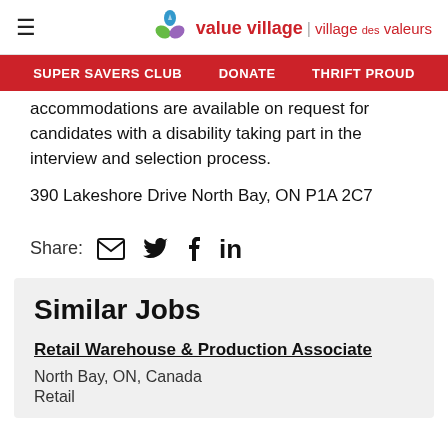value village | village des valeurs
SUPER SAVERS CLUB   DONATE   THRIFT PROUD
accommodations are available on request for candidates with a disability taking part in the interview and selection process.
390 Lakeshore Drive North Bay, ON P1A 2C7
Share:
Similar Jobs
Retail Warehouse & Production Associate
North Bay, ON, Canada
Retail